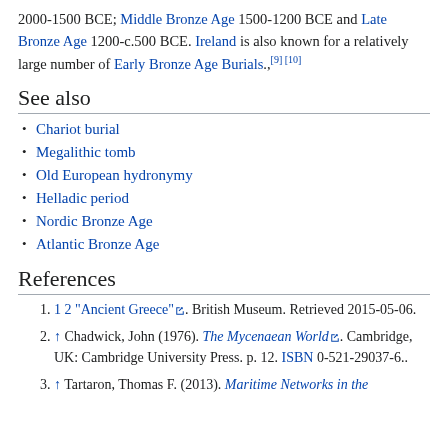2000-1500 BCE; Middle Bronze Age 1500-1200 BCE and Late Bronze Age 1200-c.500 BCE. Ireland is also known for a relatively large number of Early Bronze Age Burials.,[9] [10]
See also
Chariot burial
Megalithic tomb
Old European hydronymy
Helladic period
Nordic Bronze Age
Atlantic Bronze Age
References
1 2 "Ancient Greece". British Museum. Retrieved 2015-05-06.
↑ Chadwick, John (1976). The Mycenaean World. Cambridge, UK: Cambridge University Press. p. 12. ISBN 0-521-29037-6..
↑ Tartaron, Thomas F. (2013). Maritime Networks in the